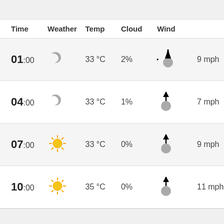| Time | Weather | Temp | Cloud | Wind |  |
| --- | --- | --- | --- | --- | --- |
| 01:00 | [crescent moon] | 33 °C | 2% | [wind arrow NW] | 9 mph |
| 04:00 | [crescent moon] | 33 °C | 1% | [wind arrow N] | 7 mph |
| 07:00 | [sunny] | 33 °C | 0% | [wind arrow N] | 9 mph |
| 10:00 | [sunny] | 35 °C | 0% | [wind arrow N] | 11 mph |